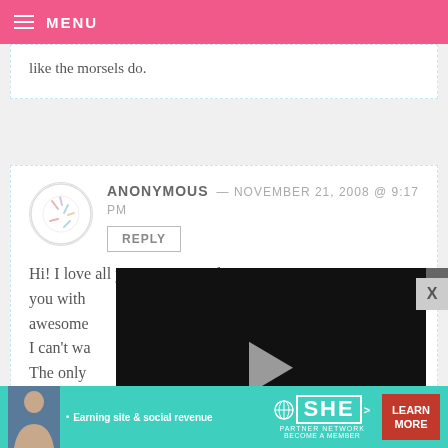MENU
like the morsels do.
ANONYMOUS — NOVEMBER 21, 2008 @ 9:17 PM
REPLY
Hi! I love all your recipes and I've seen you with awesome I can't wa The only candy melts? I'm from Australia and I've never
[Figure (screenshot): Video player overlay with play button, progress bar at 13:52, and controls including mute, CC, grid, settings, and fullscreen icons]
[Figure (infographic): Advertisement banner: SHE Partner Network - Earning site & social revenue - LEARN MORE]